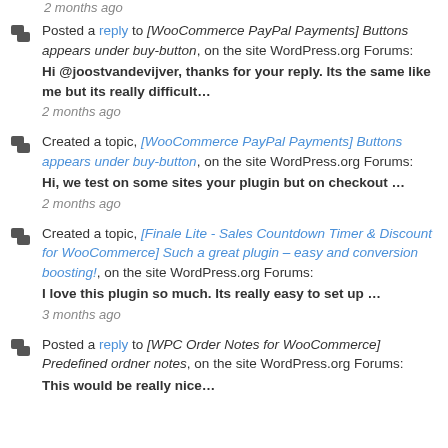2 months ago
Posted a reply to [WooCommerce PayPal Payments] Buttons appears under buy-button, on the site WordPress.org Forums: Hi @joostvandevijver, thanks for your reply. Its the same like me but its really difficult…
2 months ago
Created a topic, [WooCommerce PayPal Payments] Buttons appears under buy-button, on the site WordPress.org Forums: Hi, we test on some sites your plugin but on checkout …
2 months ago
Created a topic, [Finale Lite - Sales Countdown Timer & Discount for WooCommerce] Such a great plugin – easy and conversion boosting!, on the site WordPress.org Forums: I love this plugin so much. Its really easy to set up …
3 months ago
Posted a reply to [WPC Order Notes for WooCommerce] Predefined ordner notes, on the site WordPress.org Forums: This would be really nice…